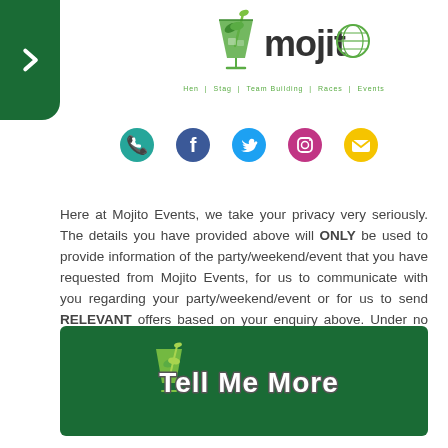[Figure (logo): Mojito Events logo with cocktail glass icon and tagline 'Hen | Stag | Team Building | Races | Events']
[Figure (infographic): Row of social media icons: phone, Facebook, Twitter, Instagram, email]
Here at Mojito Events, we take your privacy very seriously. The details you have provided above will ONLY be used to provide information of the party/weekend/event that you have requested from Mojito Events, for us to communicate with you regarding your party/weekend/event or for us to send RELEVANT offers based on your enquiry above. Under no circumstances are any of your details shared/provided to any other companies.
I consent
[Figure (illustration): Dark green banner button with Mojito cocktail glass icon and 'Tell Me More' text in white rounded font]